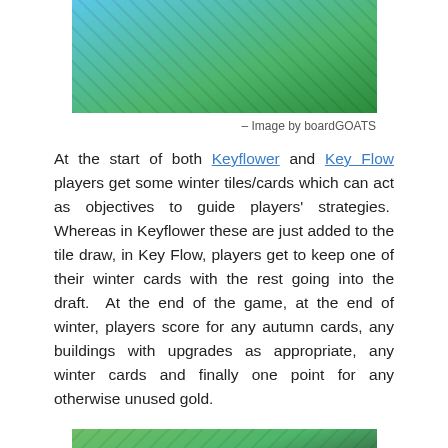[Figure (photo): Overhead photo of board game tiles with green and blue colors, showing game pieces arranged on a table]
– Image by boardGOATS
At the start of both Keyflower and Key Flow players get some winter tiles/cards which can act as objectives to guide players' strategies.  Whereas in Keyflower these are just added to the tile draw, in Key Flow, players get to keep one of their winter cards with the rest going into the draft.  At the end of the game, at the end of winter, players score for any autumn cards, any buildings with upgrades as appropriate, any winter cards and finally one point for any otherwise unused gold.
[Figure (photo): Close-up photo of board game cards and tokens showing green game tiles and circular tokens on a dark background]